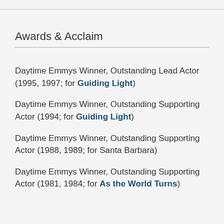Awards & Acclaim
Daytime Emmys Winner, Outstanding Lead Actor (1995, 1997; for Guiding Light)
Daytime Emmys Winner, Outstanding Supporting Actor (1994; for Guiding Light)
Daytime Emmys Winner, Outstanding Supporting Actor (1988, 1989; for Santa Barbara)
Daytime Emmys Winner, Outstanding Supporting Actor (1981, 1984; for As the World Turns)